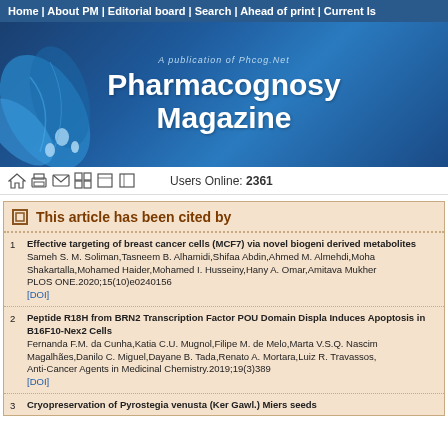Home | About PM | Editorial board | Search | Ahead of print | Current Is
[Figure (illustration): Pharmacognosy Magazine banner with blue floral design. Text: 'A publication of Phcog.Net' and 'Pharmacognosy Magazine' in white on blue gradient background.]
Users Online: 2361
This article has been cited by
Effective targeting of breast cancer cells (MCF7) via novel biogenic derived metabolites
Sameh S. M. Soliman,Tasneem B. Alhamidi,Shifaa Abdin,Ahmed M. Almehdi,Moha Shakartalla,Mohamed Haider,Mohamed I. Husseiny,Hany A. Omar,Amitava Mukher
PLOS ONE.2020;15(10)e0240156
[DOI]
Peptide R18H from BRN2 Transcription Factor POU Domain Displa Induces Apoptosis in B16F10-Nex2 Cells
Fernanda F.M. da Cunha,Katia C.U. Mugnol,Filipe M. de Melo,Marta V.S.Q. Nascim Magalhães,Danilo C. Miguel,Dayane B. Tada,Renato A. Mortara,Luiz R. Travassos,
Anti-Cancer Agents in Medicinal Chemistry.2019;19(3)389
[DOI]
Cryopreservation of Pyrostegia venusta (Ker Gawl.) Miers seeds